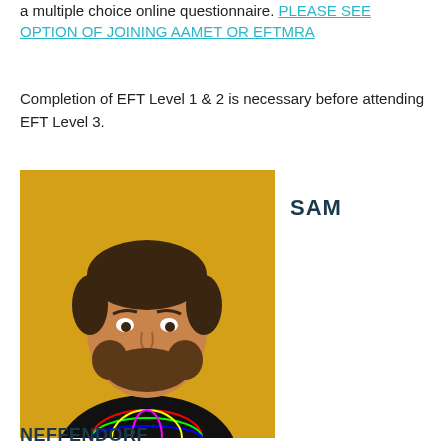a multiple choice online questionnaire. PLEASE SEE OPTION OF JOINING AAMET OR EFTMRA
Completion of EFT Level 1 & 2 is necessary before attending EFT Level 3.
[Figure (photo): Portrait photo of Sam Neffendorf, a man with a beard wearing a black t-shirt with a colorful geometric pattern, smiling against a bright yellow background.]
SAM
NEFFENDORF